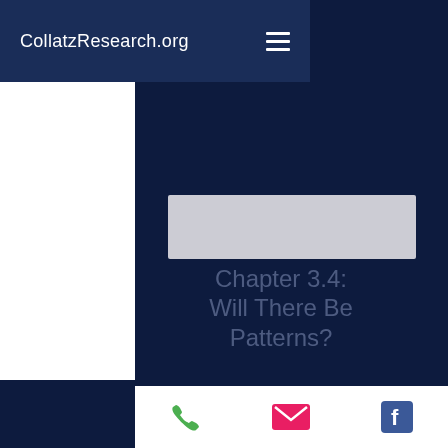CollatzResearch.org
Chapter 3.4: Will There Be Patterns?
In the early days of my research, this question fascinated me. Will there or will there not be the familiar Times and Max Value Graphs for non-integer worlds? I so badly
Click to read on: Chapter 3.5
phone | email | facebook